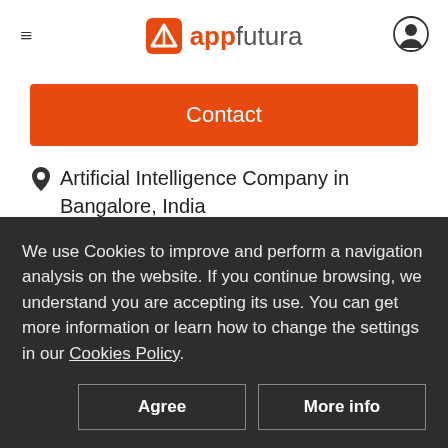appfutura
Contact
Artificial Intelligence Company in Bangalore, India
We are DxMinds Technologies, the fastest growing digital transformation company. We have our offices set up in the silicon valley of USA, India
We use Cookies to improve and perform a navigation analysis on the website. If you continue browsing, we understand you are accepting its use. You can get more information or learn how to change the settings in our Cookies Policy.